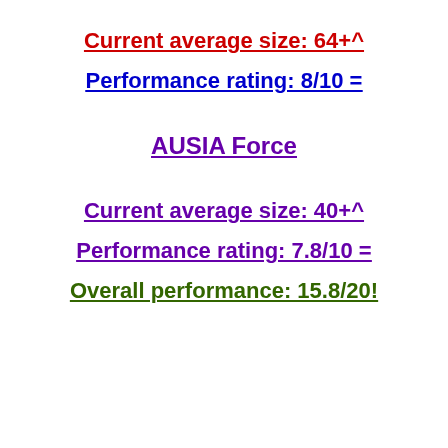Current average size: 64+^
Performance rating: 8/10 =
AUSIA Force
Current average size: 40+^
Performance rating: 7.8/10 =
Overall performance: 15.8/20!